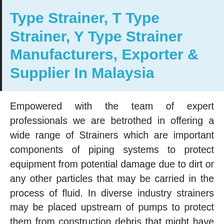Type Strainer, T Type Strainer, Y Type Strainer Manufacturers, Exporter & Supplier In Malaysia
Empowered with the team of expert professionals we are betrothed in offering a wide range of Strainers which are important components of piping systems to protect equipment from potential damage due to dirt or any other particles that may be carried in the process of fluid. In diverse industry strainers may be placed upstream of pumps to protect them from construction debris that might have been left in the pipe. Moreover the permanent strainer like y-strainer, basket strainer or tee